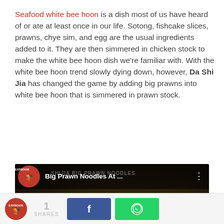Seafood white bee hoon is a dish most of us have heard of or ate at least once in our life. Sotong, fishcake slices, prawns, chye sim, and egg are the usual ingredients added to it. They are then simmered in chicken stock to make the white bee hoon dish we're familiar with. With the white bee hoon trend slowly dying down, however, Da Shi Jia has changed the game by adding big prawns into white bee hoon that is simmered in prawn stock.
[Figure (screenshot): YouTube video embed thumbnail showing 'Big Prawn Noodles At ...' by EATBOOK channel, with a play button over a noodle dish image and the text SHIJIA BIG PRAWN NOODLES in the background]
EATBOOK logo | 1 SHARES | Facebook share button | WhatsApp share button